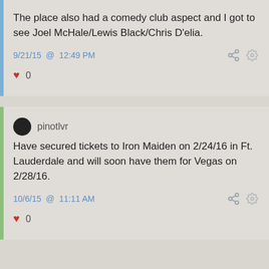The place also had a comedy club aspect and I got to see Joel McHale/Lewis Black/Chris D'elia.
9/21/15 @ 12:49 PM
0
pinotlvr
Have secured tickets to Iron Maiden on 2/24/16 in Ft. Lauderdale and will soon have them for Vegas on 2/28/16.
10/6/15 @ 11:11 AM
0